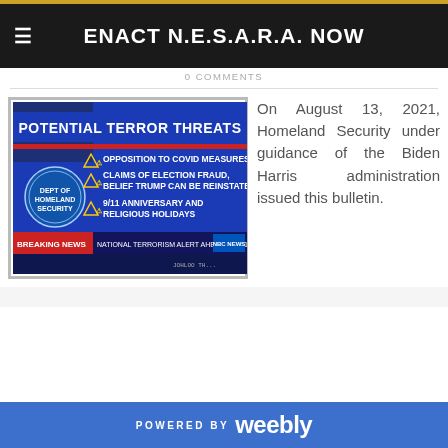ENACT N.E.S.A.R.A. NOW
0 COMMENTS
[Figure (screenshot): A TV screenshot showing a news broadcast with the title 'POTENTIAL TERROR THREATS' listing: Opposition to Covid Measures, Claims of Election Fraud / Belief Trump Can Be Reinstated, 9/11 Anniversary and Religious Holidays. Breaking News ticker reads: NATIONAL TERRORISM ALERT AHEAD OF 9/11 20TH ANNIVERSARY. The Department of Homeland Security logo is visible on the left side of the screen.]
On August 13, 2021, Homeland Security under guidance of the Biden Harris administration issued this bulletin.
POWERED BY weebly